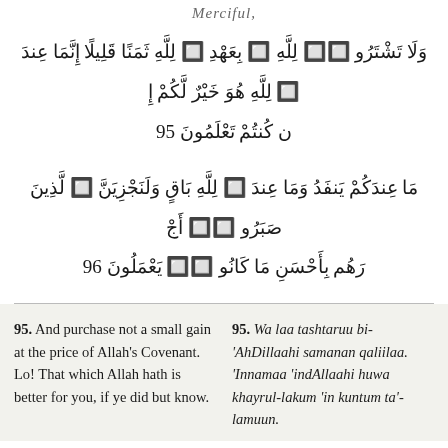Merciful,
وَلَا تَشْتَرُو ۞ ۞ لِلَّهِ ۞ بِعَهْدِ ۞ لِلَّهِ ثَمَنًا قَلِيلًا إِنَّمَا عِندَ ۞ لِلَّهِ هُوَ خَيْرٌ لَّكُمْ إِن كُنتُمْ تَعْلَمُونَ 95
مَا عِندَكُمْ يَنفَدُ وَمَا عِندَ ۞ لِلَّهِ بَاقٍ وَلَنَجْزِيَنَّ ۞ لَّذِينَ صَبَرُو ۞ ۞ أَجْرَهُم بِأَحْسَنِ مَا كَانُو ۞ ۞ يَعْمَلُونَ 96
95.  And purchase not a small gain at the price of Allah's Covenant. Lo! That which Allah hath is better for you, if ye did but know.
95.  Wa laa tashtaruu bi-'AhDillaahi samanan qaliilaa. 'Innamaa 'indAllaahi huwa khayrul-lakum 'in kuntum ta'-lamuun.